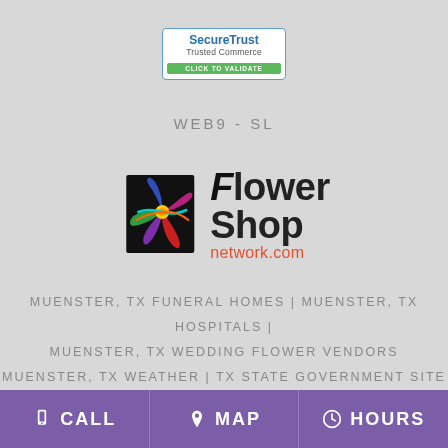[Figure (logo): SecureTrust Trusted Commerce - Click to Validate badge with blue border and green button]
WEB9-SL
[Figure (logo): Flower Shop Network logo with colorful flower graphic and text]
MUENSTER, TX FUNERAL HOMES | MUENSTER, TX HOSPITALS |
MUENSTER, TX WEDDING FLOWER VENDORS
MUENSTER, TX WEATHER | TX STATE GOVERNMENT SITE
PRIVACY POLICY | TERMS OF PURCHASE
CALL   MAP   HOURS